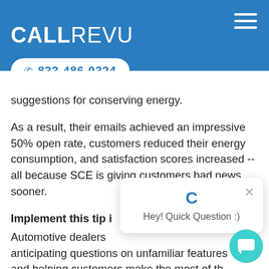CALLREVU
✆ 833-486-0324
suggestions for conserving energy.
As a result, their emails achieved an impressive 50% open rate, customers reduced their energy consumption, and satisfaction scores increased -- all because SCE is giving customers bad news sooner.
Implement this tip i...
Automotive dealers... anticipating questions on unfamiliar features and helping customers make the most of the vehicles. Vehicles are becoming more technologically advanced and most of us can
[Figure (screenshot): Chat popup widget with 'C' logo, close button, and 'Hey! Quick Question :)' text, plus a teal chat FAB button in lower right corner]